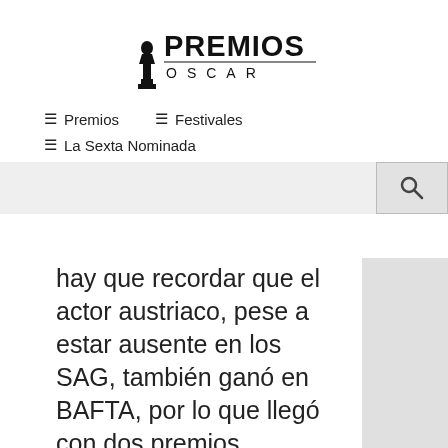[Figure (logo): Premios Oscar logo with Oscar statuette silhouette and text PREMIOS OSCAR]
≡ Premios
≡ Festivales
≡ La Sexta Nominada
hay que recordar que el actor austriaco, pese a estar ausente en los SAG, también ganó en BAFTA, por lo que llegó con dos premios importantes a la Gala de los Oscar (Globos de Oro y BAFTA). Por el